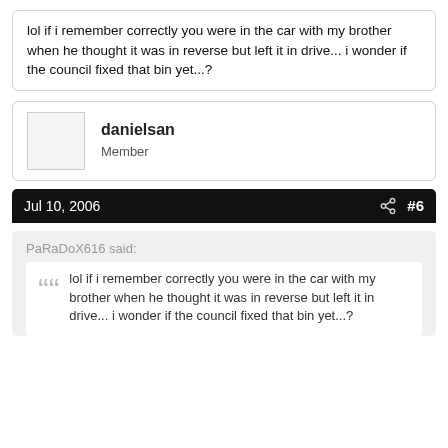lol if i remember correctly you were in the car with my brother when he thought it was in reverse but left it in drive... i wonder if the council fixed that bin yet...?
danielsan
Member
Jul 10, 2006   #6
PaRaDoX616 said:
lol if i remember correctly you were in the car with my brother when he thought it was in reverse but left it in drive... i wonder if the council fixed that bin yet...?